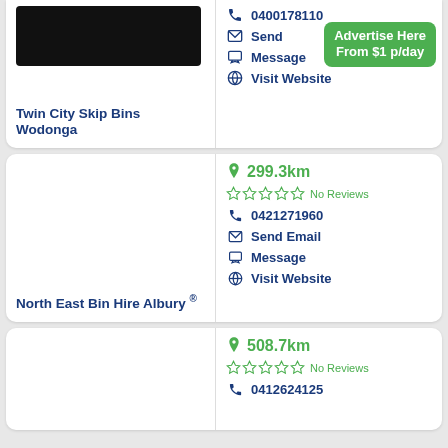[Figure (photo): Black image placeholder for business listing photo]
0400178110
Advertise Here From $1 p/day
Send Email
Message
Visit Website
Twin City Skip Bins Wodonga
299.3km
No Reviews
0421271960
Send Email
Message
Visit Website
North East Bin Hire Albury ®
508.7km
No Reviews
0412624125